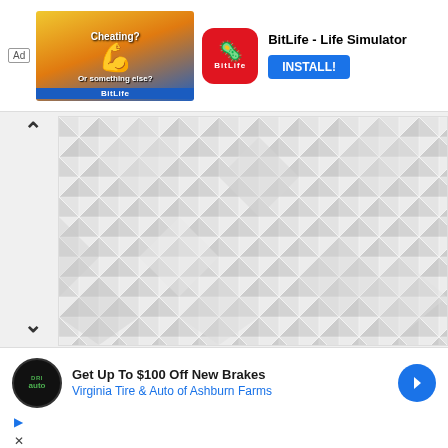[Figure (screenshot): Top advertisement banner for BitLife - Life Simulator app with 'Ad' label, promotional image with flexing arm graphic, BitLife app icon in red, app name 'BitLife - Life Simulator', and blue 'INSTALL!' button]
[Figure (illustration): Navigation area with up/down chevron arrows and a large geometric pattern background made of white and light gray triangular/diamond shapes in an isometric cube pattern]
[Figure (screenshot): Bottom advertisement banner: green/black circular 'dri auto' logo, text 'Get Up To $100 Off New Brakes' and 'Virginia Tire & Auto of Ashburn Farms', blue navigation arrow icon, play and close small icons below]